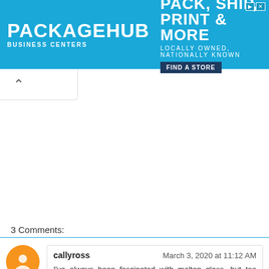[Figure (other): PackageHub Business Centers advertisement banner. Blue background with logo on left reading PACKAGEHUB BUSINESS CENTERS, tagline PACK, SHIP, PRINT & MORE, subtitle LOCALLY OWNED, NATIONALLY KNOWN, and a dark blue FIND A STORE button.]
3 Comments:
callyross
March 3, 2020 at 11:12 AM
I've always been fascinated with molten glass, but too clutzy to risk life and limb! Kudos to those amazing glass artists who do this work!